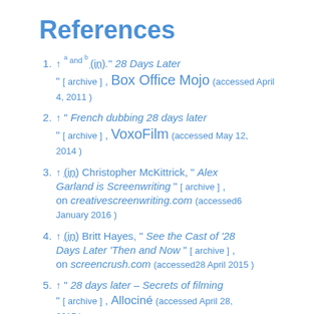References
1. ↑ a and b (in). " 28 Days Later " [ archive ] , Box Office Mojo (accessed April 4, 2011 )
2. ↑ " French dubbing 28 days later " [ archive ] , VoxoFilm (accessed May 12, 2014 )
3. ↑ (in) Christopher McKittrick, " Alex Garland is Screenwriting " [ archive ] , on creativescreenwriting.com (accessed 6 January 2016 )
4. ↑ (in) Britt Hayes, " See the Cast of '28 Days Later 'Then and Now " [ archive ] , on screencrush.com (accessed 28 April 2015 )
5. ↑ " 28 days later – Secrets of filming " [ archive ] , Allociné (accessed April 28, 2015 )